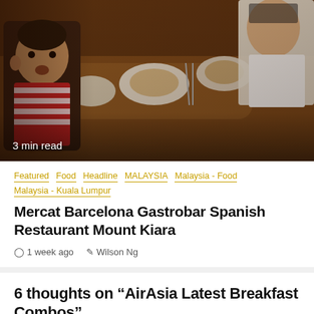[Figure (photo): People seated at a restaurant table with food and plates, a young boy in a striped shirt prominent on the left side. Brown wooden table with dishes. Read time badge '3 min read' overlaid at bottom left.]
Featured  Food  Headline  MALAYSIA  Malaysia - Food  Malaysia - Kuala Lumpur
Mercat Barcelona Gastrobar Spanish Restaurant Mount Kiara
1 week ago   Wilson Ng
6 thoughts on “AirAsia Latest Breakfast Combos”
WGOIKL says:
February 21, 2014 at 4:30 pm